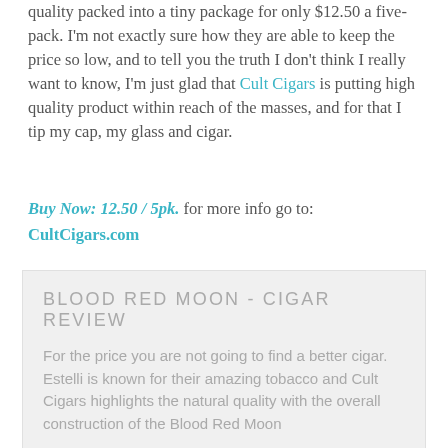quality packed into a tiny package for only $12.50 a five-pack. I'm not exactly sure how they are able to keep the price so low, and to tell you the truth I don't think I really want to know, I'm just glad that Cult Cigars is putting high quality product within reach of the masses, and for that I tip my cap, my glass and cigar.
Buy Now: 12.50 / 5pk. for more info go to: CultCigars.com
BLOOD RED MOON - CIGAR REVIEW
For the price you are not going to find a better cigar. Estelli is known for their amazing tobacco and Cult Cigars highlights the natural quality with the overall construction of the Blood Red Moon
[Figure (bar-chart): CONSTRUCTION]
DRAW  9.5